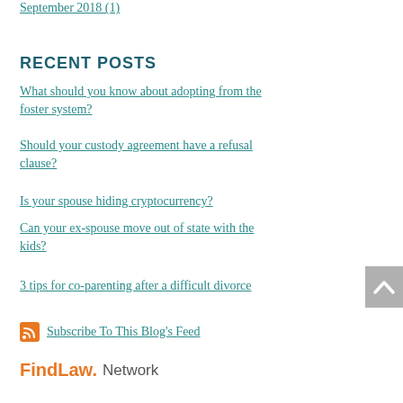September 2018 (1)
RECENT POSTS
What should you know about adopting from the foster system?
Should your custody agreement have a refusal clause?
Is your spouse hiding cryptocurrency?
Can your ex-spouse move out of state with the kids?
3 tips for co-parenting after a difficult divorce
Subscribe To This Blog's Feed
[Figure (logo): FindLaw Network logo]
FindLaw. Network